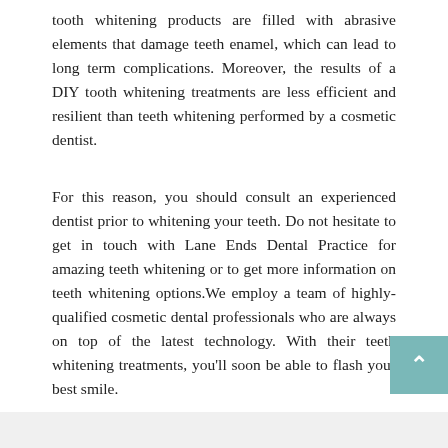tooth whitening products are filled with abrasive elements that damage teeth enamel, which can lead to long term complications. Moreover, the results of a DIY tooth whitening treatments are less efficient and resilient than teeth whitening performed by a cosmetic dentist.
For this reason, you should consult an experienced dentist prior to whitening your teeth. Do not hesitate to get in touch with Lane Ends Dental Practice for amazing teeth whitening or to get more information on teeth whitening options.We employ a team of highly-qualified cosmetic dental professionals who are always on top of the latest technology. With their teeth whitening treatments, you'll soon be able to flash your best smile.